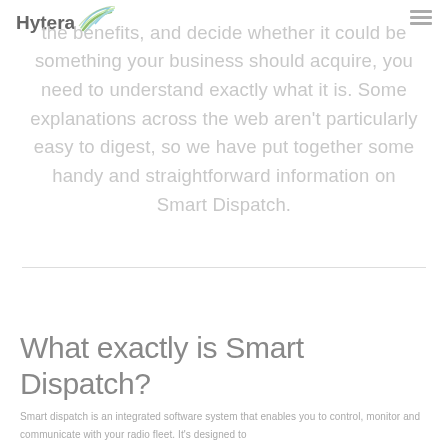Hytera [logo]
the benefits, and decide whether it could be something your business should acquire, you need to understand exactly what it is. Some explanations across the web aren't particularly easy to digest, so we have put together some handy and straightforward information on Smart Dispatch.
What exactly is Smart Dispatch?
Smart dispatch is an integrated software system that enables you to control, monitor and communicate with your radio fleet. It's designed to